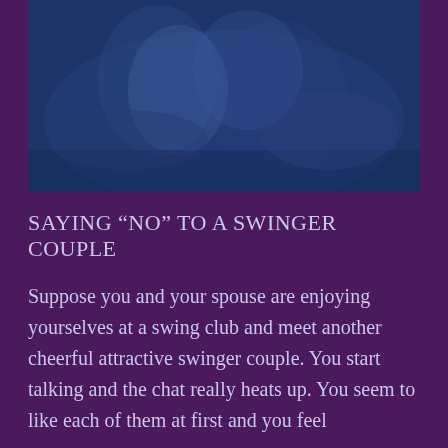[Figure (photo): A blue-tinted intimate photo of a couple, rendered with a dark blue overlay on a purple background]
SAYING “NO” TO A SWINGER COUPLE
Suppose you and your spouse are enjoying yourselves at a swing club and meet another cheerful attractive swinger couple. You start talking and the chat really heats up. You seem to like each of them at first and you feel